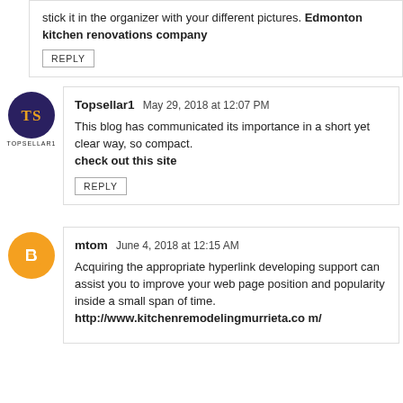stick it in the organizer with your different pictures. Edmonton kitchen renovations company
REPLY
[Figure (logo): TS Topsellar1 avatar circle with dark purple background and gold TS initials, TOPSELLAR1 label below]
Topsellar1  May 29, 2018 at 12:07 PM
This blog has communicated its importance in a short yet clear way, so compact. check out this site
REPLY
[Figure (logo): Blogger avatar: orange circle with white Blogger B icon]
mtom  June 4, 2018 at 12:15 AM
Acquiring the appropriate hyperlink developing support can assist you to improve your web page position and popularity inside a small span of time. http://www.kitchenremodelingmurrieta.com/